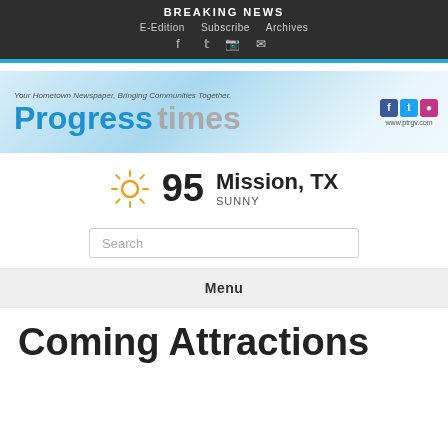BREAKING NEWS
E-Edition   Subscribe   Archives
[Figure (logo): Progress Times newspaper logo banner with tagline 'Your Hometown Newspaper, Bringing Communities Together.' and social media icons for Facebook, Twitter, Instagram, website www.ptrgv.com]
95  Mission, TX  SUNNY
Search
Menu
Coming Attractions